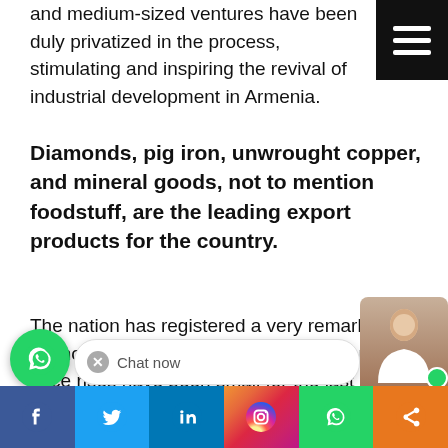and medium-sized ventures have been duly privatized in the process, stimulating and inspiring the revival of industrial development in Armenia.
Diamonds, pig iron, unwrought copper, and mineral goods, not to mention foodstuff, are the leading export products for the country.
The nation has registered a very remarkable economic development since 1995 even while price rises have been small for the last some years. This stable economic growth has resulted in a good support for Armenia from several global establishments, with World Bank (WB) and the International Monetary Fund (IMF) being just two such groups.
Armenian trade is exceedingly reliant on Eco... with Russia, Belarus and K... no